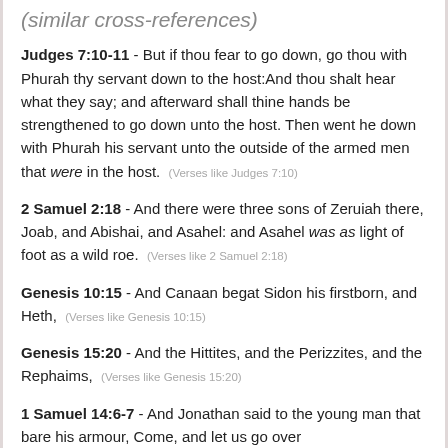(similar cross-references)
Judges 7:10-11 - But if thou fear to go down, go thou with Phurah thy servant down to the host:And thou shalt hear what they say; and afterward shall thine hands be strengthened to go down unto the host. Then went he down with Phurah his servant unto the outside of the armed men that were in the host. (Verses like Judges 7:10)
2 Samuel 2:18 - And there were three sons of Zeruiah there, Joab, and Abishai, and Asahel: and Asahel was as light of foot as a wild roe. (Verses like 2 Samuel 2:18)
Genesis 10:15 - And Canaan begat Sidon his firstborn, and Heth, (Verses like Genesis 10:15)
Genesis 15:20 - And the Hittites, and the Perizzites, and the Rephaims, (Verses like Genesis 15:20)
1 Samuel 14:6-7 - And Jonathan said to the young man that bare his armour, Come, and let us go over